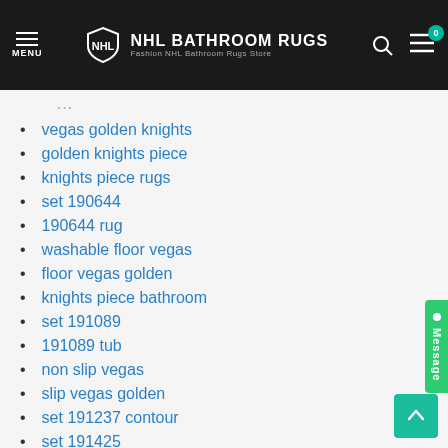NHL BATHROOM RUGS - Fashion NHL Bathroom Rugs Store
vegas golden knights
golden knights piece
knights piece rugs
set 190644
190644 rug
washable floor vegas
floor vegas golden
knights piece bathroom
set 191089
191089 tub
non slip vegas
slip vegas golden
set 191237 contour
set 191425
piece velveteen vegas
velveteen vegas golden
golden knights bathroom
knights bathroom rugs